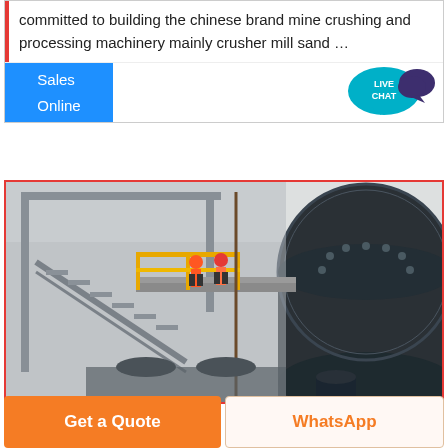committed to building the chinese brand mine crushing and processing machinery mainly crusher mill sand …
Sales Online
[Figure (photo): Industrial ball mill machinery with workers in hard hats and orange vests standing on yellow metal stairs/platform inside a factory building. A large grey cylindrical ball mill dominates the right side of the image.]
Get a Quote
WhatsApp